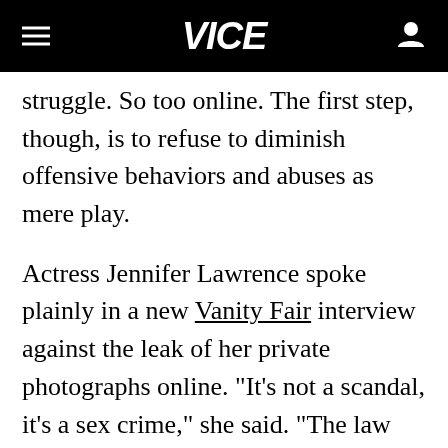VICE
struggle. So too online. The first step, though, is to refuse to diminish offensive behaviors and abuses as mere play.
Actress Jennifer Lawrence spoke plainly in a new Vanity Fair interview against the leak of her private photographs online. "It's not a scandal, it's a sex crime," she said. "The law needs to be changed and we need to change." On the latter point at least, she is correct. Rather than wait for the criminal justice system or bottom-line-focused tech giants to do the work of stamping out online abuse, the ethical onus rests on individual online users to collectively refuse to